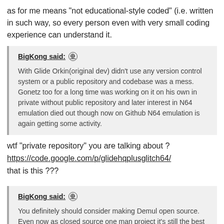as for me means "not educational-style coded" (i.e. written in such way, so every person even with very small coding experience can understand it.
BigKong said: ⊕
With Glide Orkin(original dev) didn't use any version control system or a public repository and codebase was a mess. Gonetz too for a long time was working on it on his own in private without public repository and later interest in N64 emulation died out though now on Github N64 emulation is again getting some activity.
wtf "private repository" you are talking about ?
https://code.google.com/p/glidehqplusglitch64/
that is this ???
BigKong said: ⊕
You definitely should consider making Demul open source. Even now as closed source one man project it's still the best Dreamcast emulator